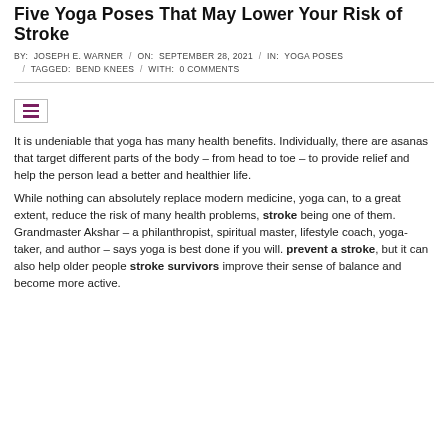Five Yoga Poses That May Lower Your Risk of Stroke
BY: JOSEPH E. WARNER / ON: SEPTEMBER 28, 2021 / IN: YOGA POSES / TAGGED: BEND KNEES / WITH: 0 COMMENTS
[Figure (other): Hamburger menu icon with three horizontal purple bars in a bordered box]
It is undeniable that yoga has many health benefits. Individually, there are asanas that target different parts of the body – from head to toe – to provide relief and help the person lead a better and healthier life.
While nothing can absolutely replace modern medicine, yoga can, to a great extent, reduce the risk of many health problems, stroke being one of them. Grandmaster Akshar – a philanthropist, spiritual master, lifestyle coach, yoga-taker, and author – says yoga is best done if you will. prevent a stroke, but it can also help older people stroke survivors improve their sense of balance and become more active.